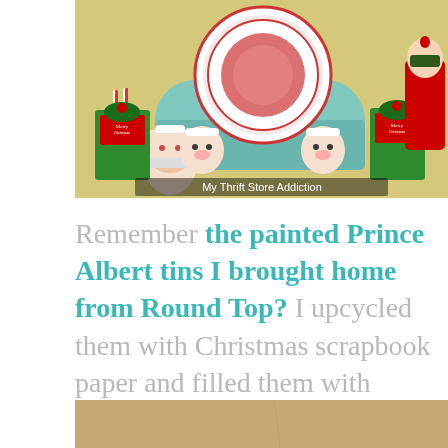[Figure (photo): Photo of Christmas shelf display with Santa mugs, teal bread box, red and white decorative plate, greenery in tins, and elf figure. Watermark reads 'My Thrift Store Addiction'.]
Remember the painted Prince Albert tins I brought home from Round Top? I upcycled them with Christmas scrapbook paper and filled them with dollar store mistletoe.
[Figure (photo): Partial photo of a tan/beige surface, cropped at the bottom of the page.]